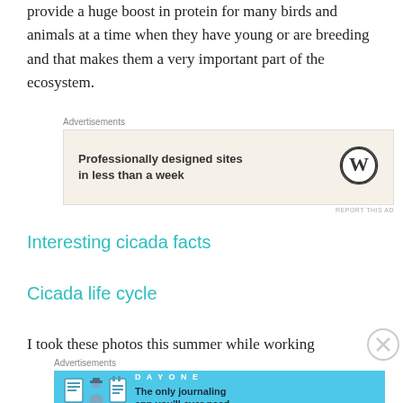provide a huge boost in protein for many birds and animals at a time when they have young or are breeding and that makes them a very important part of the ecosystem.
[Figure (other): Advertisement banner for WordPress: 'Professionally designed sites in less than a week' with WordPress logo]
Interesting cicada facts
Cicada life cycle
I took these photos this summer while working
[Figure (other): Advertisement banner for Day One journaling app: 'The only journaling app you'll ever need.']